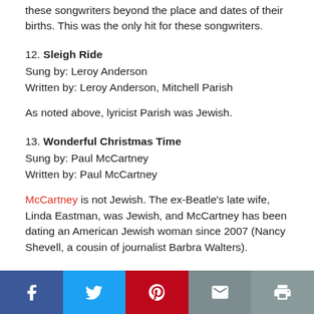these songwriters beyond the place and dates of their births. This was the only hit for these songwriters.
12. Sleigh Ride
Sung by: Leroy Anderson
Written by: Leroy Anderson, Mitchell Parish
As noted above, lyricist Parish was Jewish.
13. Wonderful Christmas Time
Sung by: Paul McCartney
Written by: Paul McCartney
McCartney is not Jewish. The ex-Beatle's late wife, Linda Eastman, was Jewish, and McCartney has been dating an American Jewish woman since 2007 (Nancy Shevell, a cousin of journalist Barbra Walters).
Social share bar: Facebook, Twitter, Pinterest, Email, Print